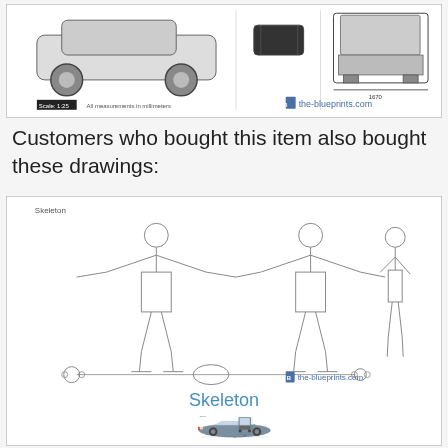[Figure (engineering-diagram): Technical blueprint/schematic drawings of a vehicle (car/truck) showing side, front/rear, and top-down orthographic views with measurements. Features the-blueprints.com logo and scale indicator.]
Customers who bought this item also bought these drawings:
[Figure (engineering-diagram): Technical blueprint of a human skeleton showing front, rear, and side orthographic views plus a horizontal layout view. Labeled 'Skeleton' at top. Features the-blueprints.com logo.]
Skeleton
[Figure (engineering-diagram): Technical blueprint of an Audi 80 (1991) showing side profile view (gray colored car), front view, top-down view, and rear view with dimension measurements.]